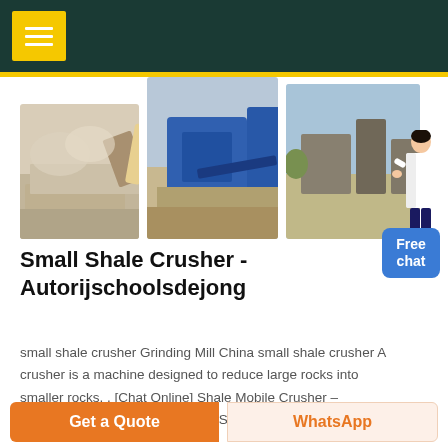[Figure (photo): Three photos of rock crushing / mining machinery and quarry equipment]
[Figure (illustration): Woman in white blazer pointing, customer service representative figure]
Small Shale Crusher - Autorijschoolsdejong
small shale crusher Grinding Mill China small shale crusher A crusher is a machine designed to reduce large rocks into smaller rocks, . [Chat Online] Shale Mobile Crusher – braintreecoin. Small Crusher For Shale Lenguaglobalin shale
Free chat
Get a Quote
WhatsApp